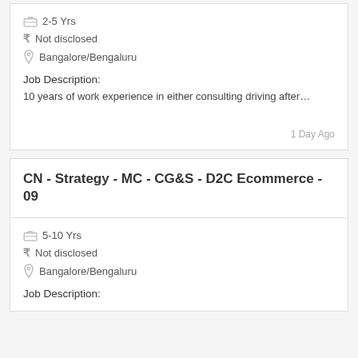2-5 Yrs
₹ Not disclosed
Bangalore/Bengaluru
Job Description:
10 years of work experience in either consulting driving after…
1 Day Ago
CN - Strategy - MC - CG&S - D2C Ecommerce - 09
5-10 Yrs
₹ Not disclosed
Bangalore/Bengaluru
Job Description: